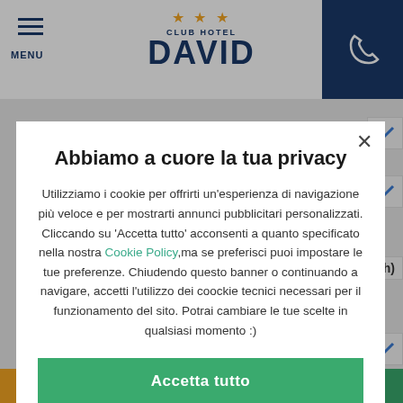MENU | CLUB HOTEL DAVID
Abbiamo a cuore la tua privacy
Utilizziamo i cookie per offrirti un'esperienza di navigazione più veloce e per mostrarti annunci pubblicitari personalizzati. Cliccando su 'Accetta tutto' acconsenti a quanto specificato nella nostra Cookie Policy,ma se preferisci puoi impostare le tue preferenze. Chiudendo questo banner o continuando a navigare, accetti l'utilizzo dei coockie tecnici necessari per il funzionamento del sito. Potrai cambiare le tue scelte in qualsiasi momento :)
Accetta tutto
Gestione preferenze